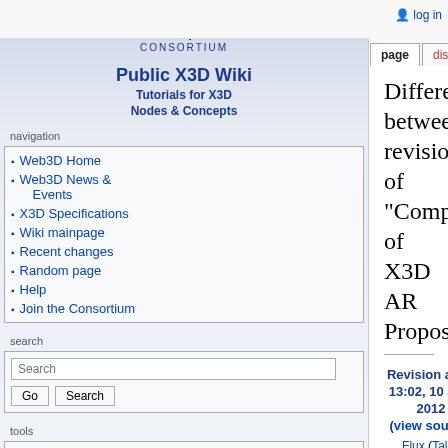log in
page | discussion | view source | history
[Figure (logo): web|3D CONSORTIUM logo with Public X3D Wiki - Tutorials for X3D Nodes & Concepts]
navigation
Web3D Home
Web3D News & Events
X3D Specifications
Wiki mainpage
Recent changes
Random page
Help
Join the Consortium
search
tools
Difference between revisions of "Comparison of X3D AR Proposals"
Revision as of 13:02, 10 July 2012 (view source) Flux (Talk | contribs) (properwikifzation of internal link-no need to treat it as HTML external link, no excessive carriage return/new line occurrences - they only waste page resourcew while not doing anything when displayed)
Latest revision as of 08:58, 17 August 2012 (view source) Flux (Talk | contribs) (full spelling of month name)